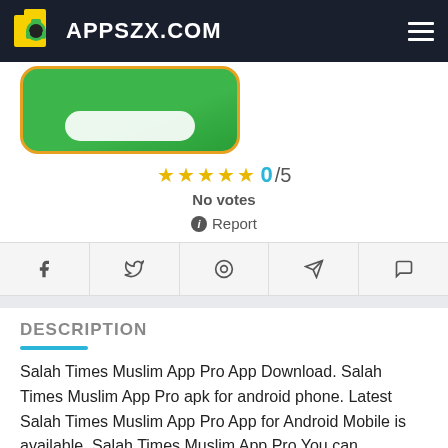APPSZX.COM
[Figure (screenshot): Partial app icon/image with green background and orange border, showing a rounded rectangle on a green background]
0/5
No votes
Report
[Figure (infographic): Social share buttons row: Facebook, Twitter, Pinterest, Telegram, WhatsApp]
DESCRIPTION
Salah Times Muslim App Pro App Download. Salah Times Muslim App Pro apk for android phone. Latest Salah Times Muslim App Pro App for Android Mobile is available. Salah Times Muslim App Pro You can download the app for your